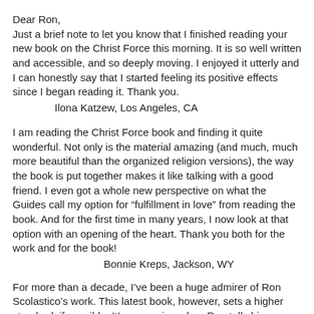Dear Ron,
Just a brief note to let you know that I finished reading your new book on the Christ Force this morning. It is so well written and accessible, and so deeply moving. I enjoyed it utterly and I can honestly say that I started feeling its positive effects since I began reading it. Thank you.
        Ilona Katzew, Los Angeles, CA
I am reading the Christ Force book and finding it quite wonderful. Not only is the material amazing (and much, much more beautiful than the organized religion versions), the way the book is put together makes it like talking with a good friend. I even got a whole new perspective on what the Guides call my option for "fulfillment in love" from reading the book. And for the first time in many years, I now look at that option with an opening of the heart. Thank you both for the work and for the book!
                Bonnie Kreps, Jackson, WY
For more than a decade, I've been a huge admirer of Ron Scolastico's work. This latest book, however, sets a higher standard, if possible. It's so moving when Ron tells his personal story of spiritual evolution. He interweaves this with his signature crystal-pure, high-vibe [TrustedSite]